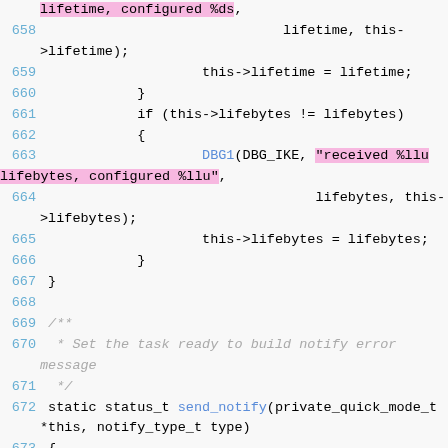Code listing lines 658-676 showing C source code with syntax highlighting for an IKE/VPN implementation, including lifetime and lifebytes comparison logic and send_notify function declaration.